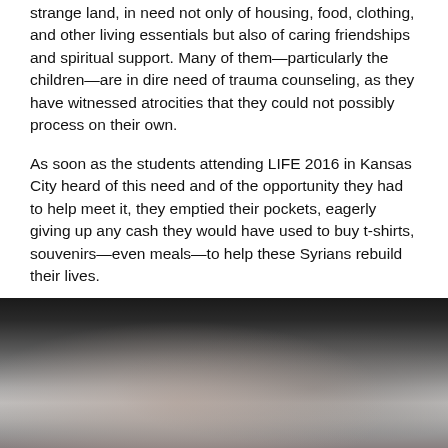strange land, in need not only of housing, food, clothing, and other living essentials but also of caring friendships and spiritual support. Many of them—particularly the children—are in dire need of trauma counseling, as they have witnessed atrocities that they could not possibly process on their own.
As soon as the students attending LIFE 2016 in Kansas City heard of this need and of the opportunity they had to help meet it, they emptied their pockets, eagerly giving up any cash they would have used to buy t-shirts, souvenirs—even meals—to help these Syrians rebuild their lives.
Well done, LIFERS!
[Figure (photo): A dark, blurred photograph showing indistinct shapes, predominantly dark tones at top fading to lighter gray tones in the lower portion.]